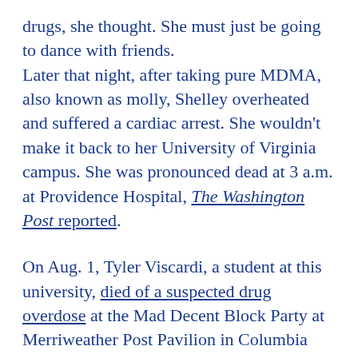drugs, she thought. She must just be going to dance with friends. Later that night, after taking pure MDMA, also known as molly, Shelley overheated and suffered a cardiac arrest. She wouldn't make it back to her University of Virginia campus. She was pronounced dead at 3 a.m. at Providence Hospital, The Washington Post reported.
On Aug. 1, Tyler Viscardi, a student at this university, died of a suspected drug overdose at the Mad Decent Block Party at Merriweather Post Pavilion in Columbia after consuming a drink spiked with a toxic substance, authorities said. These kinds of cases have historically led people to cast a dim light on drug users and the rave scene. But